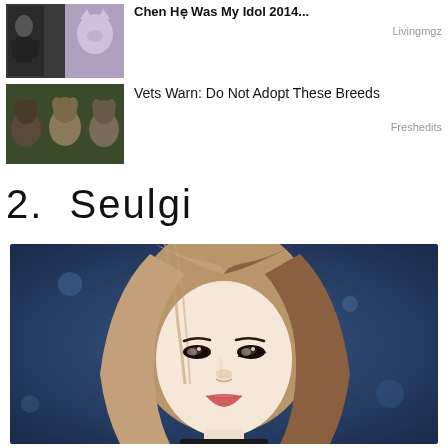[Figure (photo): Two small thumbnail photos side by side: person in suit and a cat]
[Figure (photo): Three puppies/dogs in a row]
Vets Warn: Do Not Adopt These Breeds
Freshedits
2.  Seulgi
[Figure (photo): Portrait photo of Seulgi, a Korean female celebrity with long straight brown hair, against a blue background]